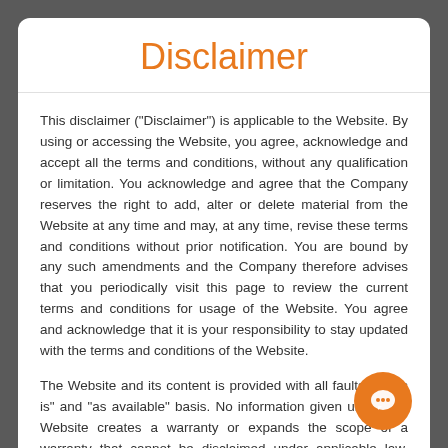Disclaimer
This disclaimer ("Disclaimer") is applicable to the Website. By using or accessing the Website, you agree, acknowledge and accept all the terms and conditions, without any qualification or limitation. You acknowledge and agree that the Company reserves the right to add, alter or delete material from the Website at any time and may, at any time, revise these terms and conditions without prior notification. You are bound by any such amendments and the Company therefore advises that you periodically visit this page to review the current terms and conditions for usage of the Website. You agree and acknowledge that it is your responsibility to stay updated with the terms and conditions of the Website.
The Website and its content is provided with all faults on "as is" and "as available" basis. No information given under this Website creates a warranty or expands the scope of a warranty that cannot be disclaimed under applicable law. Your